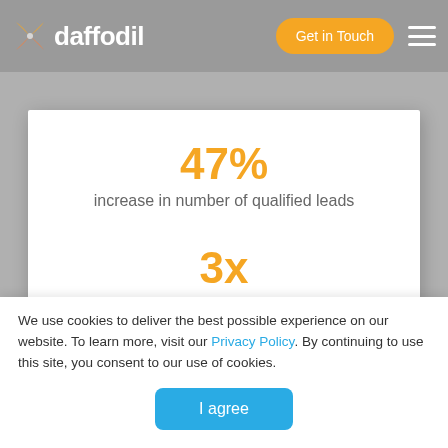[Figure (logo): Daffodil Software logo with orange butterfly/star icon and text 'daffodil' in white on gray header bar]
[Figure (infographic): Orange 'Get in Touch' pill button in header]
[Figure (other): Hamburger menu icon (three white horizontal lines) in top right of header]
47%
increase in number of qualified leads
3x
faster vehicle inspection process
We use cookies to deliver the best possible experience on our website. To learn more, visit our Privacy Policy. By continuing to use this site, you consent to our use of cookies.
I agree